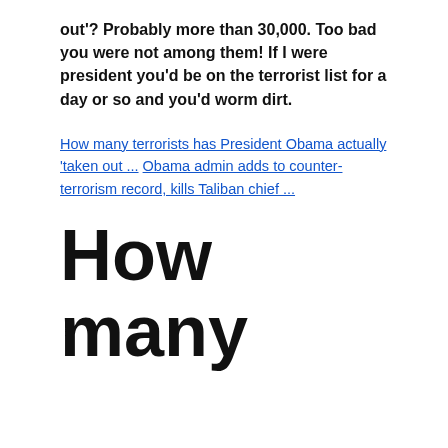out'? Probably more than 30,000. Too bad you were not among them! If I were president you'd be on the terrorist list for a day or so and you'd worm dirt.
How many terrorists has President Obama actually 'taken out ... Obama admin adds to counter-terrorism record, kills Taliban chief ...
How many terrorists has President